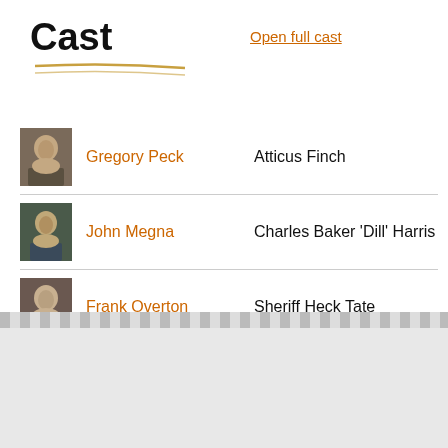Cast
Open full cast
| Photo | Actor | Role |
| --- | --- | --- |
| [photo] | Gregory Peck | Atticus Finch |
| [photo] | John Megna | Charles Baker 'Dill' Harris |
| [photo] | Frank Overton | Sheriff Heck Tate |
|  | Rosemary Murphy | Maudie Atkinson |